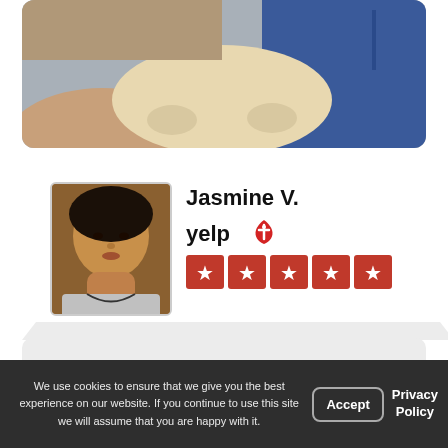[Figure (photo): Top photo showing hands holding a small dog (likely a Corgi puppy) with a person wearing a blue plaid shirt visible in the background]
[Figure (photo): Profile photo of Jasmine V., a woman taking a selfie in a car]
Jasmine V.
[Figure (logo): Yelp logo with red burst/flame icon]
[Figure (other): 5-star Yelp rating shown as five red star blocks]
The staff really make this place amazing. I love bringing my Corgi pup here
We use cookies to ensure that we give you the best experience on our website. If you continue to use this site we will assume that you are happy with it.
Accept
Privacy Policy